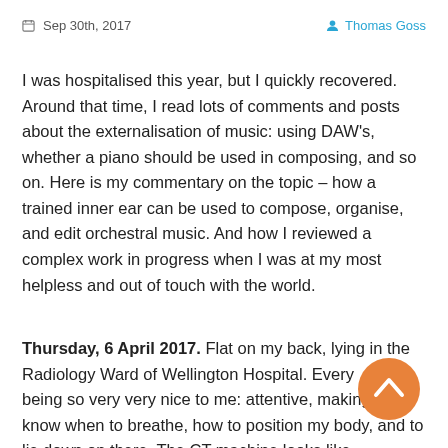Sep 30th, 2017   Thomas Goss
I was hospitalised this year, but I quickly recovered. Around that time, I read lots of comments and posts about the externalisation of music: using DAW's, whether a piano should be used in composing, and so on. Here is my commentary on the topic – how a trained inner ear can be used to compose, organise, and edit orchestral music. And how I reviewed a complex work in progress when I was at my most helpless and out of touch with the world.
Thursday, 6 April 2017. Flat on my back, lying in the Radiology Ward of Wellington Hospital. Everyone's being so very very nice to me: attentive, making sure I know when to breathe, how to position my body, and to lie down on there. The CT machine looks like